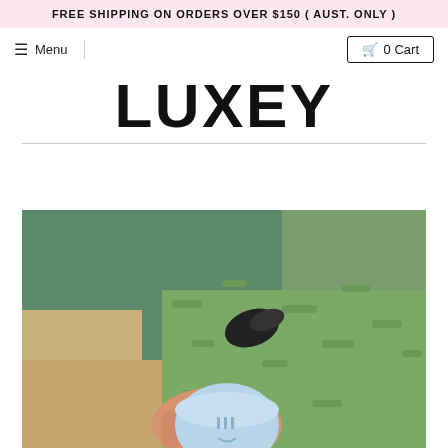FREE SHIPPING ON ORDERS OVER $150 ( AUST. ONLY )
≡ Menu
🛍 0 Cart
LUXEY
[Figure (photo): A person holding a small blue round cup/lid outdoors on grass, wearing green shorts and black shoes, seen from above.]